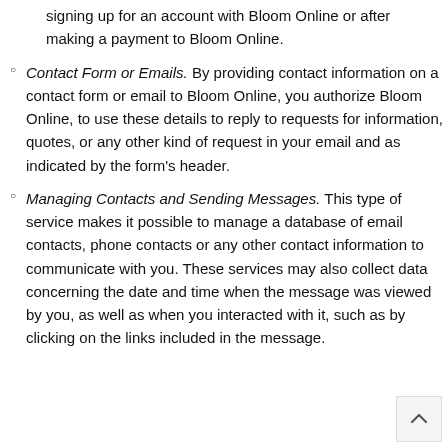signing up for an account with Bloom Online or after making a payment to Bloom Online.
Contact Form or Emails. By providing contact information on a contact form or email to Bloom Online, you authorize Bloom Online, to use these details to reply to requests for information, quotes, or any other kind of request in your email and as indicated by the form's header.
Managing Contacts and Sending Messages. This type of service makes it possible to manage a database of email contacts, phone contacts or any other contact information to communicate with you. These services may also collect data concerning the date and time when the message was viewed by you, as well as when you interacted with it, such as by clicking on the links included in the message.